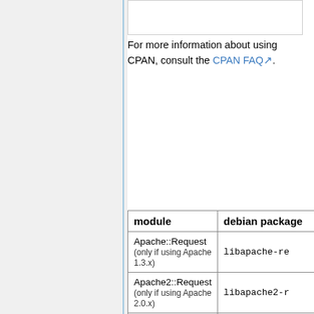For more information about using CPAN, consult the CPAN FAQ.
| module | debian package |
| --- | --- |
| Apache::Request
(only if using Apache 1.3.x) | libapache-re |
| Apache2::Request
(only if using Apache 2.0.x) | libapache2-r |
| Data::UUID | libdata-uuid
(virtual package, provi
libossp-uuid-pe |
| Date::Format | libtimedate- |
| Date::Parse | libtimedate- |
| <nop>DateTime | libdatetime- |
| DBD::mysql | libdbd-mysql |
| Email::Address |  |